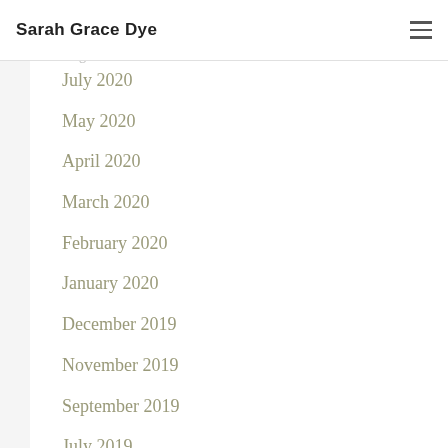Sarah Grace Dye
October 2020
August 2020
July 2020
May 2020
April 2020
March 2020
February 2020
January 2020
December 2019
November 2019
September 2019
July 2019
June 2019